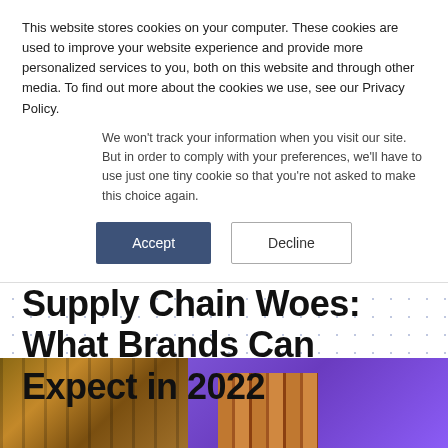This website stores cookies on your computer. These cookies are used to improve your website experience and provide more personalized services to you, both on this website and through other media. To find out more about the cookies we use, see our Privacy Policy.
We won't track your information when you visit our site. But in order to comply with your preferences, we'll have to use just one tiny cookie so that you're not asked to make this choice again.
[Figure (screenshot): Two buttons: 'Accept' (dark blue/slate filled) and 'Decline' (outlined/white)]
Supply Chain Woes: What Brands Can Expect in 2022
[Figure (photo): Photo of stacked shipping containers on left side and a purple-background portion with more containers on the right side]